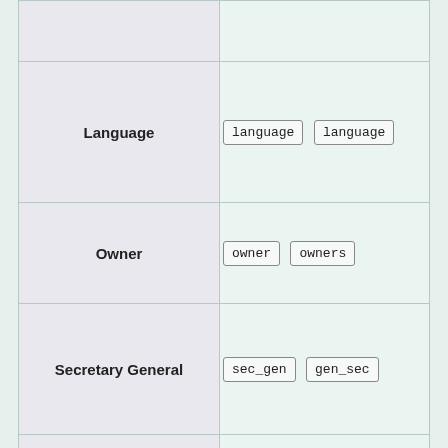| Field | Tags |
| --- | --- |
|  |  |
| Language | language  language |
| Owner | owner  owners |
| Secretary General | sec_gen  gen_sec |
|  |  |